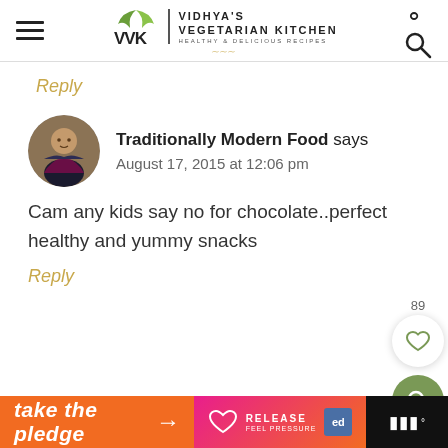VIDHYA'S VEGETARIAN KITCHEN — HEALTHY & DELICIOUS RECIPES
Reply
[Figure (photo): Avatar photo of Traditionally Modern Food commenter — woman in dark sari]
Traditionally Modern Food says
August 17, 2015 at 12:06 pm
Cam any kids say no for chocolate..perfect healthy and yummy snacks
Reply
[Figure (infographic): Take the pledge ad banner with orange background, arrow, Release logo, Ed badge, and music dots]